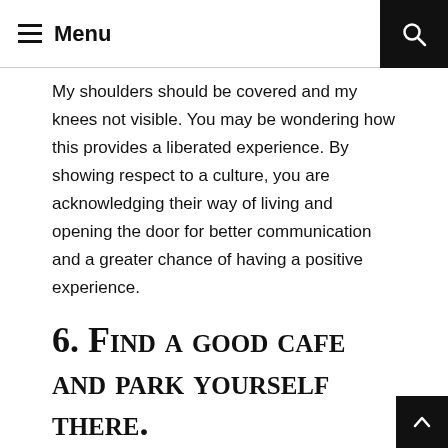Menu
My shoulders should be covered and my knees not visible. You may be wondering how this provides a liberated experience. By showing respect to a culture, you are acknowledging their way of living and opening the door for better communication and a greater chance of having a positive experience.
6. Find a good cafe and park yourself there.
Many times, the best travel is not about checking every single item off a list.  Sometimes, it is about slowing down and taking in a place and its people. I'm still very guilty of overplanning, but I know that visiting all the museums I